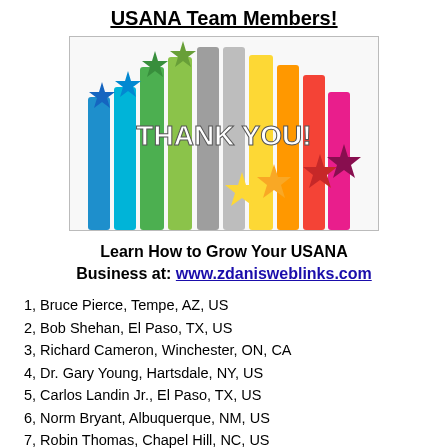USANA Team Members!
[Figure (illustration): Colorful 3D stars shooting upward with bold white 'THANK YOU!' text in the center, on a white background.]
Learn How to Grow Your USANA Business at: www.zdanisweblinks.com
1, Bruce Pierce, Tempe, AZ, US
2, Bob Shehan, El Paso, TX, US
3, Richard Cameron, Winchester, ON, CA
4, Dr. Gary Young, Hartsdale, NY, US
5, Carlos Landin Jr., El Paso, TX, US
6, Norm Bryant, Albuquerque, NM, US
7, Robin Thomas, Chapel Hill, NC, US